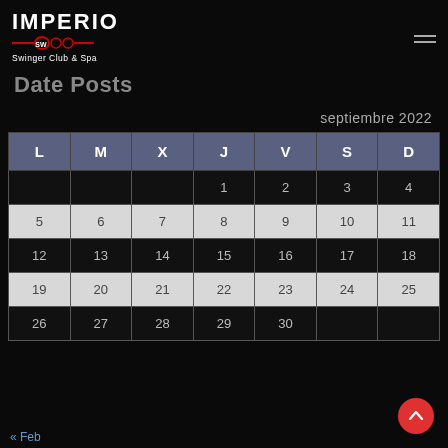[Figure (logo): Imperio SW Swinger Club & Spa logo with red ornamental design]
Date Posts
septiembre 2022
| L | M | X | J | V | S | D |
| --- | --- | --- | --- | --- | --- | --- |
|  |  |  | 1 | 2 | 3 | 4 |
| 5 | 6 | 7 | 8 | 9 | 10 | 11 |
| 12 | 13 | 14 | 15 | 16 | 17 | 18 |
| 19 | 20 | 21 | 22 | 23 | 24 | 25 |
| 26 | 27 | 28 | 29 | 30 |  |  |
« Feb